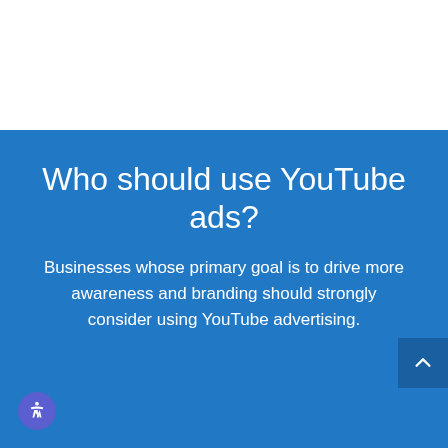Who should use YouTube ads?
Businesses whose primary goal is to drive more awareness and branding should strongly consider using YouTube advertising.